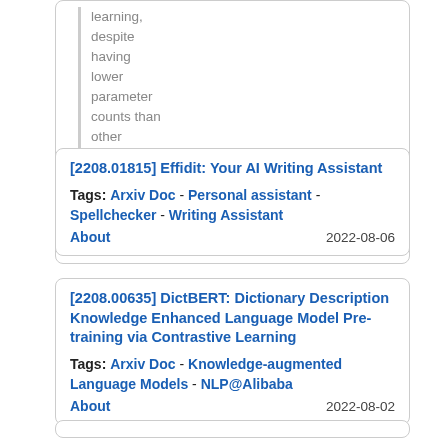learning, despite having lower parameter counts than other powerful recent few-shot learners.
About   2022-08-08
[2208.01815] Effidit: Your AI Writing Assistant
Tags: Arxiv Doc - Personal assistant - Spellchecker - Writing Assistant
About   2022-08-06
[2208.00635] DictBERT: Dictionary Description Knowledge Enhanced Language Model Pre-training via Contrastive Learning
Tags: Arxiv Doc - Knowledge-augmented Language Models - NLP@Alibaba
About   2022-08-02